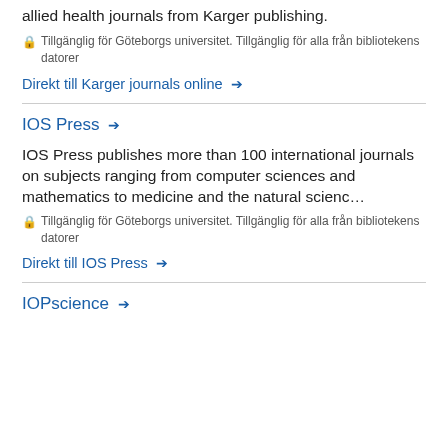allied health journals from Karger publishing.
🔒 Tillgänglig för Göteborgs universitet. Tillgänglig för alla från bibliotekens datorer
Direkt till Karger journals online →
IOS Press →
IOS Press publishes more than 100 international journals on subjects ranging from computer sciences and mathematics to medicine and the natural scienc…
🔒 Tillgänglig för Göteborgs universitet. Tillgänglig för alla från bibliotekens datorer
Direkt till IOS Press →
IOPscience →